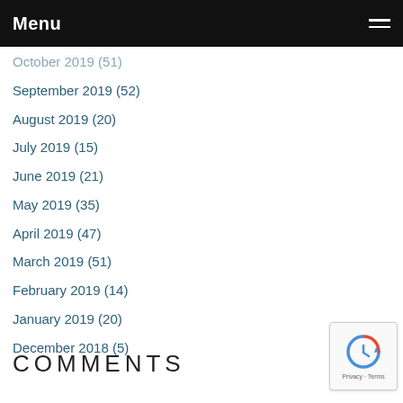Menu
October 2019 (51)
September 2019 (52)
August 2019 (20)
July 2019 (15)
June 2019 (21)
May 2019 (35)
April 2019 (47)
March 2019 (51)
February 2019 (14)
January 2019 (20)
December 2018 (5)
COMMENTS